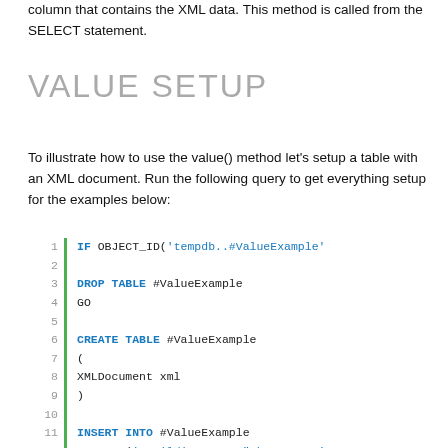column that contains the XML data.  This method is called from the SELECT statement.
VALUE SETUP
To illustrate how to use the value() method let's setup a table with an XML document.  Run the following query to get everything setup for the examples below:
[Figure (screenshot): SQL code block with line numbers 1-12 (partial), green vertical bar on left, showing IF OBJECT_ID, DROP TABLE, GO, CREATE TABLE, XMLDocument xml column, INSERT INTO, VALUES with XML skyscraper building data]